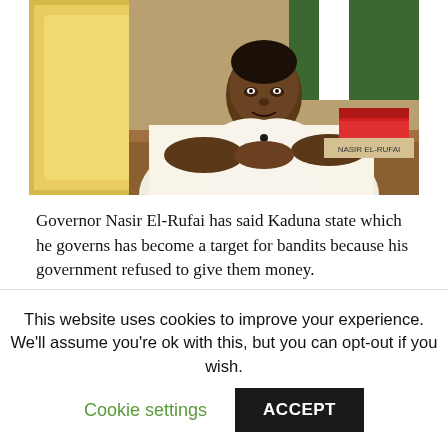[Figure (photo): Governor Nasir El-Rufai seated at a desk in a white traditional outfit, with a Nigerian flag visible in the background and books/materials on the desk.]
Governor Nasir El-Rufai has said Kaduna state which he governs has become a target for bandits because his government refused to give them money.
El-Rufai who appeared on a Channels Television Programme on Sunday April 4, said the recent bandits' attacks on communities in the state were a result of the government's decision that it would not negotiate with them.
This website uses cookies to improve your experience. We'll assume you're ok with this, but you can opt-out if you wish. Cookie settings ACCEPT